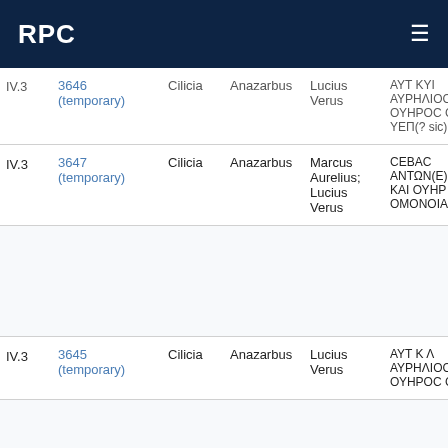RPC
| Vol. | No. | Province | City | Ruler | Obverse legend |
| --- | --- | --- | --- | --- | --- |
| IV.3 | 3646 (temporary) | Cilicia | Anazarbus | Lucius Verus | ΑΥΤ ΚΥΙ ΑΥΡΗΛΙΟС ΟΥΗΡΟС СЕВ ΥΕΠ(? sic) Β |
| IV.3 | 3647 (temporary) | Cilicia | Anazarbus | Marcus Aurelius; Lucius Verus | СΕΒΑС ΑΝΤΩΝ(Ε)ΙΝ ΚΑΙ ΟΥΗΡ ΟΜΟΝΟΙΑ |
| IV.3 | 3645 (temporary) | Cilicia | Anazarbus | Lucius Verus | ΑΥΤ Κ Λ ΑΥΡΗΛΙОС ΟΥΗΡΟС СЕВ |